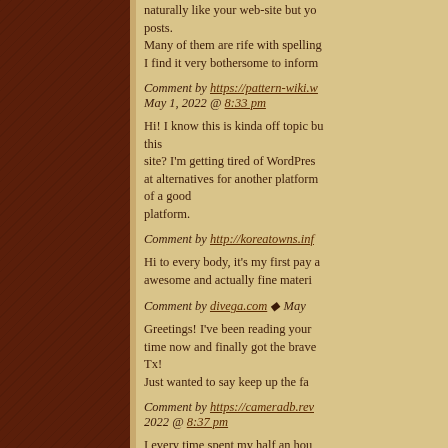naturally like your web-site but you posts. Many of them are rife with spelling I find it very bothersome to inform
Comment by https://pattern-wiki.w May 1, 2022 @ 8:33 pm
Hi! I know this is kinda off topic but this site? I'm getting tired of WordPress at alternatives for another platform of a good platform.
Comment by http://koreatowns.inf
Hi to every body, it's my first pay a awesome and actually fine materi
Comment by divega.com ◆ May
Greetings! I've been reading your time now and finally got the brave Tx! Just wanted to say keep up the fa
Comment by https://cameradb.rev 2022 @ 8:37 pm
I every time spent my half an hou content everyday along with a cu
Comment by www.sitiosecuador.c